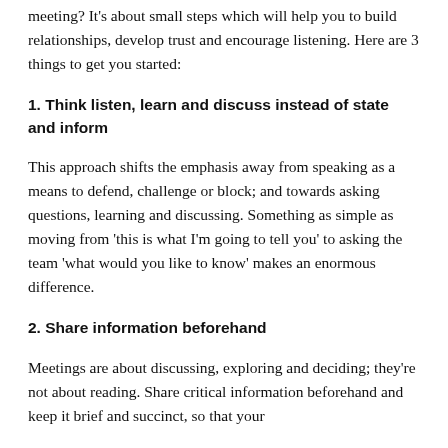meeting? It's about small steps which will help you to build relationships, develop trust and encourage listening. Here are 3 things to get you started:
1. Think listen, learn and discuss instead of state and inform
This approach shifts the emphasis away from speaking as a means to defend, challenge or block; and towards asking questions, learning and discussing. Something as simple as moving from 'this is what I'm going to tell you' to asking the team 'what would you like to know' makes an enormous difference.
2. Share information beforehand
Meetings are about discussing, exploring and deciding; they're not about reading. Share critical information beforehand and keep it brief and succinct, so that your